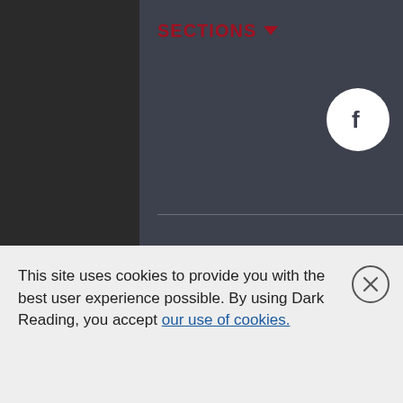SECTIONS ▼
[Figure (logo): Informa Tech logo with spiral/orbit icon and text 'informa tech' in light gray]
This site uses cookies to provide you with the best user experience possible. By using Dark Reading, you accept our use of cookies.